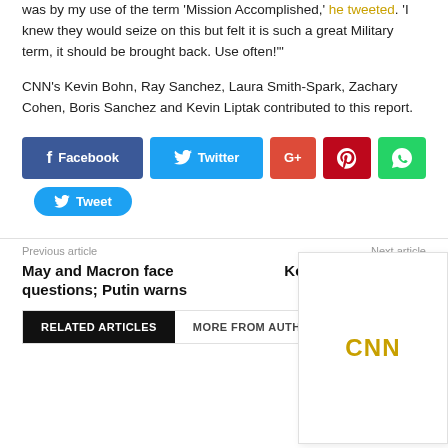was by my use of the term 'Mission Accomplished,' he tweeted. 'I knew they would seize on this but felt it is such a great Military term, it should be brought back. Use often!'
CNN's Kevin Bohn, Ray Sanchez, Laura Smith-Spark, Zachary Cohen, Boris Sanchez and Kevin Liptak contributed to this report.
[Figure (other): Social sharing buttons: Facebook, Twitter, Google+, Pinterest, WhatsApp, and a Tweet button]
Previous article
May and Macron face questions; Putin warns
Next article
Kendall Jen... Bikini Came V... Ba...
[Figure (logo): CNN logo overlay box]
RELATED ARTICLES
MORE FROM AUTHO...